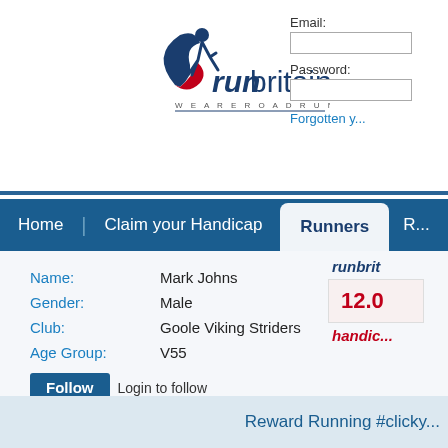[Figure (logo): runbritain logo with runner silhouette and text 'runbritain WE ARE ROAD RUNNING']
Email:
Password:
Forgotten y...
Home | Claim your Handicap | Runners
Name: Mark Johns
Gender: Male
Club: Goole Viking Striders
Age Group: V55
Follow  Login to follow
[Figure (logo): runbritain handicap score panel showing 12.0]
Reward Running #clicky...